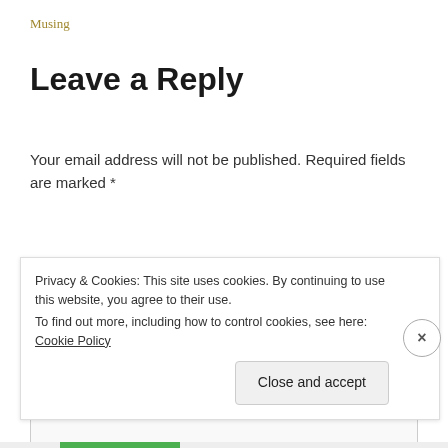Musing
Leave a Reply
Your email address will not be published. Required fields are marked *
Comment *
[Figure (screenshot): Comment text area input box (empty, light gray background)]
Privacy & Cookies: This site uses cookies. By continuing to use this website, you agree to their use.
To find out more, including how to control cookies, see here: Cookie Policy
Close and accept